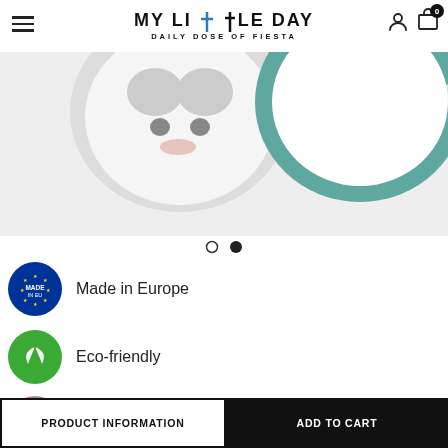MY LITTLE DAY — DAILY DOSE OF FIESTA
[Figure (photo): Product image showing plates/bowls on light grey background — partially cropped]
[Figure (infographic): Carousel dots: one empty circle, one filled circle]
Made in Europe
Eco-friendly
1 tree planted from 30€ of purchase with Tree Nation